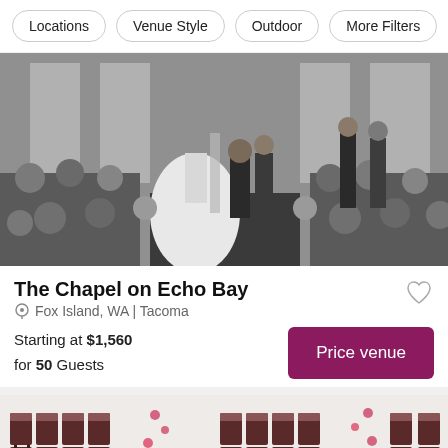Locations | Venue Style | Outdoor | More Filters
[Figure (photo): Black and white photo of a wedding ceremony inside a chapel. Bride in white gown and groom at the altar, guests seated in pews, flowers decorating the aisle.]
The Chapel on Echo Bay
Fox Island, WA | Tacoma
Starting at $1,560 for 50 Guests
[Figure (photo): Photo of rows of dark wooden chiavari chairs with burgundy/mauve cushions arranged in an aisle configuration with flower petals on the floor.]